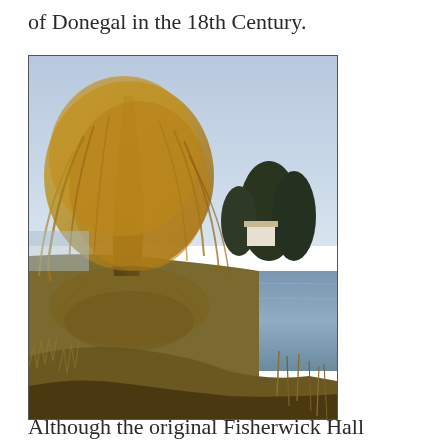of Donegal in the 18th Century.
[Figure (photo): Photograph of a large weeping willow tree with golden-yellow autumn foliage reflected in a calm river or pond. Green and brown grassland in foreground, trees and a white building in background, clear blue sky.]
Although the original Fisherwick Hall